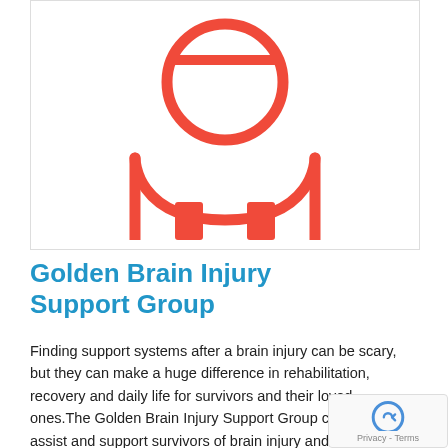[Figure (illustration): Red outline icon of a person (generic user/avatar silhouette) — a circle for the head with a horizontal line across the top third, and a rounded body/torso below, with two red rectangular shapes at the bottom suggesting legs. White background.]
Golden Brain Injury Support Group
Finding support systems after a brain injury can be scary, but they can make a huge difference in rehabilitation, recovery and daily life for survivors and their loved ones.The Golden Brain Injury Support Group can help assist and support survivors of brain injury and their families in their recovery. Located...